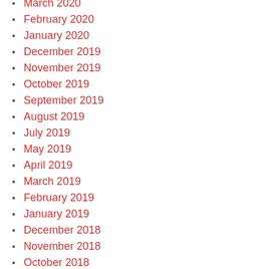March 2020
February 2020
January 2020
December 2019
November 2019
October 2019
September 2019
August 2019
July 2019
May 2019
April 2019
March 2019
February 2019
January 2019
December 2018
November 2018
October 2018
September 2018
August 2018
July 2018
June 2018
May 2018